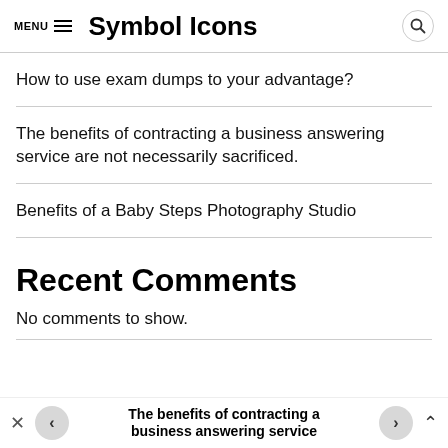MENU Symbol Icons
How to use exam dumps to your advantage?
The benefits of contracting a business answering service are not necessarily sacrificed.
Benefits of a Baby Steps Photography Studio
Recent Comments
No comments to show.
The benefits of contracting a business answering service